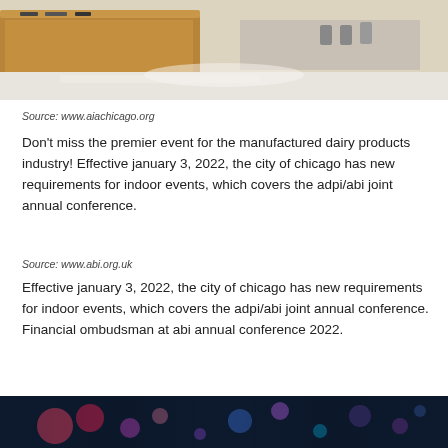[Figure (photo): Interior of a modern building or store with wooden counter/display furniture and polished light-colored floor.]
Source: www.aiachicago.org
Don't miss the premier event for the manufactured dairy products industry! Effective january 3, 2022, the city of chicago has new requirements for indoor events, which covers the adpi/abi joint annual conference.
Source: www.abi.org.uk
Effective january 3, 2022, the city of chicago has new requirements for indoor events, which covers the adpi/abi joint annual conference. Financial ombudsman at abi annual conference 2022.
[Figure (photo): Blurred bokeh lights in dark background with pink, red, teal, and purple circular light orbs.]